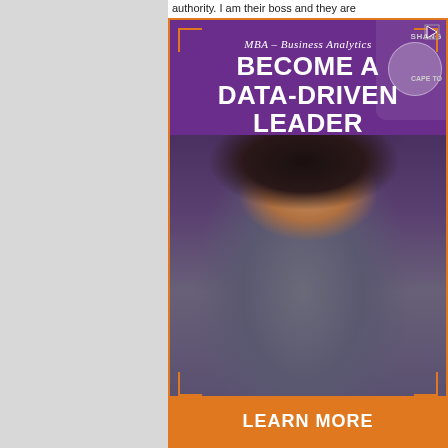authority. I am their boss and they are
[Figure (illustration): MBA Business Analytics advertisement. Purple background with orange bracket borders. Headline: 'MBA – Business Analytics / BECOME A DATA-DRIVEN LEADER'. Photo of a smiling woman in a gray top. Globe/world map decoration top right with 'SHANG' and 'CAPE TO' text. Orange 'LEARN MORE' button at bottom.]